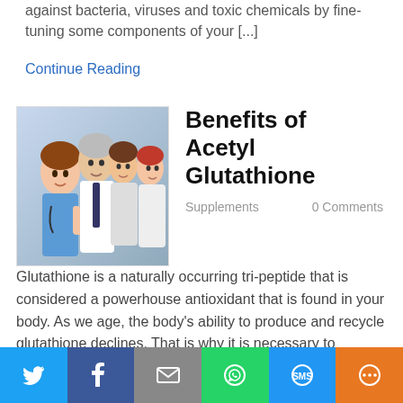against bacteria, viruses and toxic chemicals by fine-tuning some components of your [...]
Continue Reading
Benefits of Acetyl Glutathione
Supplements    0 Comments
[Figure (photo): Group of smiling medical professionals in white coats giving thumbs up]
Glutathione is a naturally occurring tri-peptide that is considered a powerhouse antioxidant that is found in your body. As we age, the body's ability to produce and recycle glutathione declines. That is why it is necessary to supplement this intracellular antioxidant. There are a lot of benefits to taking glutathione orally. The